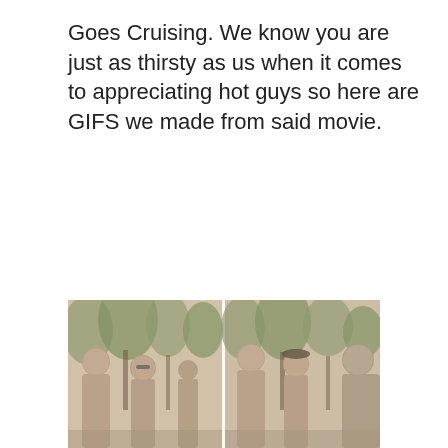Goes Cruising. We know you are just as thirsty as us when it comes to appreciating hot guys so here are GIFS we made from said movie.
[Figure (photo): A composite/split photo showing shirtless men outdoors in a warm, faded/desaturated outdoor setting with trees in the background. The image appears to be a side-by-side frame from a movie, showing two similar scenes of shirtless men.]